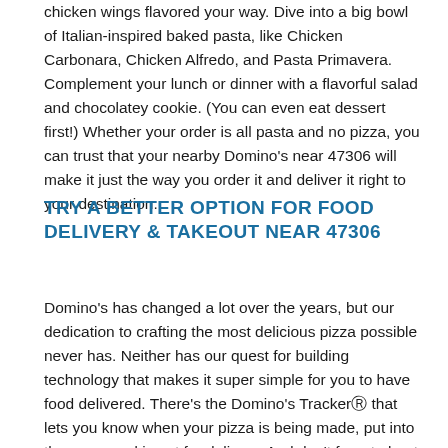chicken wings flavored your way. Dive into a big bowl of Italian-inspired baked pasta, like Chicken Carbonara, Chicken Alfredo, and Pasta Primavera. Complement your lunch or dinner with a flavorful salad and chocolatey cookie. (You can even eat dessert first!) Whether your order is all pasta and no pizza, you can trust that your nearby Domino's near 47306 will make it just the way you order it and deliver it right to your destination.
TRY A BETTER OPTION FOR FOOD DELIVERY & TAKEOUT NEAR 47306
Domino's has changed a lot over the years, but our dedication to crafting the most delicious pizza possible never has. Neither has our quest for building technology that makes it super simple for you to have food delivered. There's the Domino's TrackerⓇ that lets you know when your pizza is being made, put into the oven, and is out for delivery. And don't forget about Domino's Hotspots®, a cool technology that lets you have Domino's chicken wings, pizza, pasta, sandwiches, and more delivered almost anywhere in Ball State Unive — park, pool, or beach — you name it! Or, have the Domino's dishes you crave most